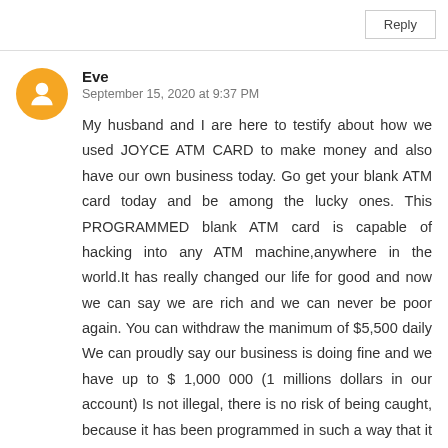Reply
Eve
September 15, 2020 at 9:37 PM
My husband and I are here to testify about how we used JOYCE ATM CARD to make money and also have our own business today. Go get your blank ATM card today and be among the lucky ones. This PROGRAMMED blank ATM card is capable of hacking into any ATM machine,anywhere in the world.It has really changed our life for good and now we can say we are rich and we can never be poor again. You can withdraw the manimum of $5,500 daily We can proudly say our business is doing fine and we have up to $ 1,000 000 (1 millions dollars in our account) Is not illegal, there is no risk of being caught, because it has been programmed in such a way that it is not